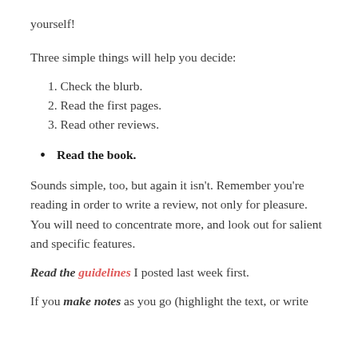yourself!
Three simple things will help you decide:
1. Check the blurb.
2. Read the first pages.
3. Read other reviews.
Read the book.
Sounds simple, too, but again it isn't. Remember you're reading in order to write a review, not only for pleasure. You will need to concentrate more, and look out for salient and specific features.
Read the guidelines I posted last week first.
If you make notes as you go (highlight the text, or write